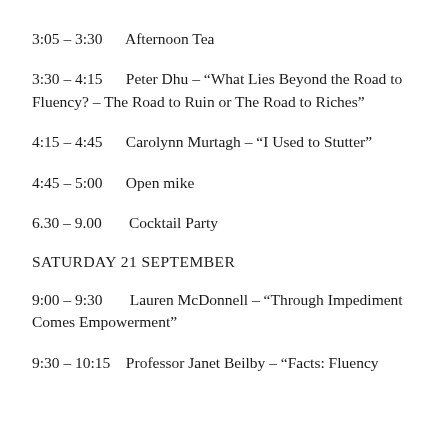3:05 – 3:30     Afternoon Tea
3:30 – 4:15     Peter Dhu – “What Lies Beyond the Road to Fluency? – The Road to Ruin or The Road to Riches”
4:15 – 4:45     Carolynn Murtagh – “I Used to Stutter”
4:45 – 5:00     Open mike
6.30 – 9.00     Cocktail Party
SATURDAY 21 SEPTEMBER
9:00 – 9:30     Lauren McDonnell – “Through Impediment Comes Empowerment”
9:30 – 10:15   Professor Janet Beilby – “Facts: Fluency